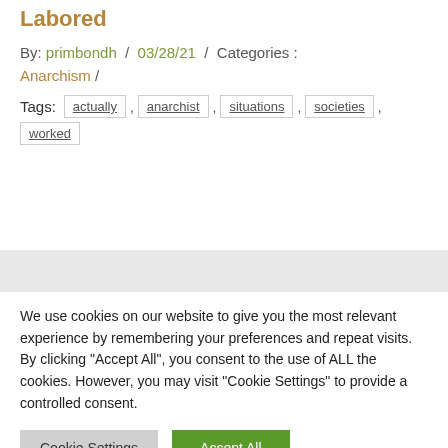Labored
By: primbondh / 03/28/21 / Categories : Anarchism /
Tags: actually , anarchist , situations , societies , worked
We use cookies on our website to give you the most relevant experience by remembering your preferences and repeat visits. By clicking "Accept All", you consent to the use of ALL the cookies. However, you may visit "Cookie Settings" to provide a controlled consent.